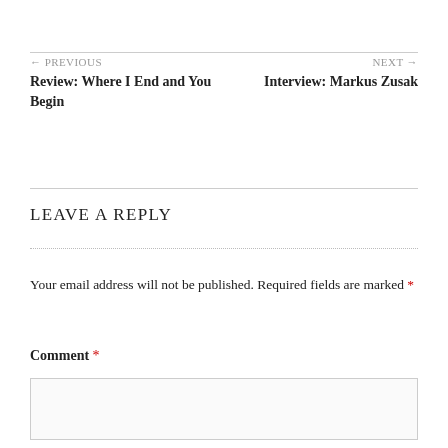← PREVIOUS
Review: Where I End and You Begin
NEXT →
Interview: Markus Zusak
LEAVE A REPLY
Your email address will not be published. Required fields are marked *
Comment *